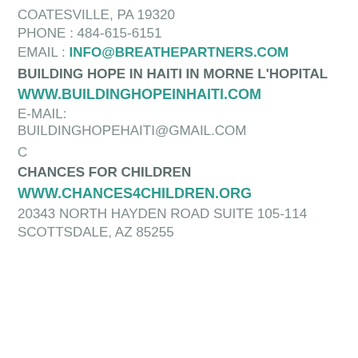COATESVILLE, PA 19320
PHONE : 484-615-6151
EMAIL : INFO@BREATHEPARTNERS.COM
BUILDING HOPE IN HAITI IN MORNE L'HOPITAL
WWW.BUILDINGHOPEINHAITI.COM
E-MAIL: BUILDINGHOPEHAITI@GMAIL.COM
C
CHANCES FOR CHILDREN
WWW.CHANCES4CHILDREN.ORG
20343 NORTH HAYDEN ROAD SUITE 105-114
SCOTTSDALE, AZ 85255